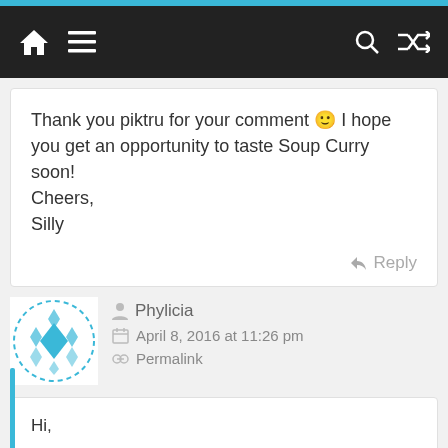[Figure (screenshot): Navigation bar with home icon, hamburger menu, search icon, and shuffle icon on dark background]
Thank you piktru for your comment 🙂 I hope you get an opportunity to taste Soup Curry soon!
Cheers,
Silly
Reply
[Figure (illustration): Teal diamond pattern avatar icon]
Phylicia
April 8, 2016 at 11:26 pm
Permalink
Hi,

May i know is it hard to find tatsuki ramen? Do